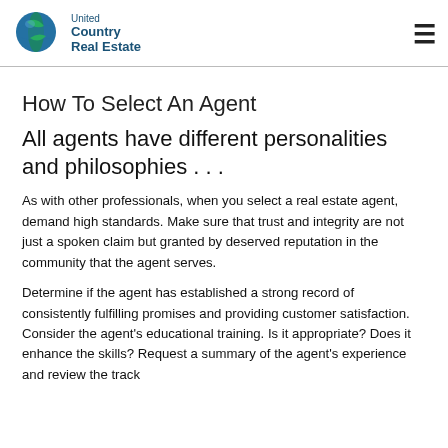[Figure (logo): United Country Real Estate logo with globe icon on the left and text 'United Country Real Estate' on the right]
How To Select An Agent
All agents have different personalities and philosophies . . .
As with other professionals, when you select a real estate agent, demand high standards. Make sure that trust and integrity are not just a spoken claim but granted by deserved reputation in the community that the agent serves.
Determine if the agent has established a strong record of consistently fulfilling promises and providing customer satisfaction. Consider the agent's educational training. Is it appropriate? Does it enhance the skills? Request a summary of the agent's experience and review the track